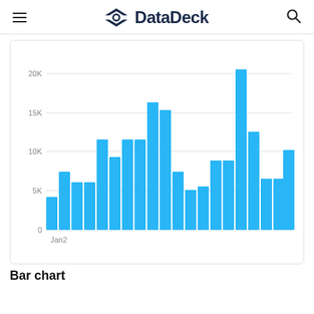DataDeck
[Figure (bar-chart): ]
Bar chart